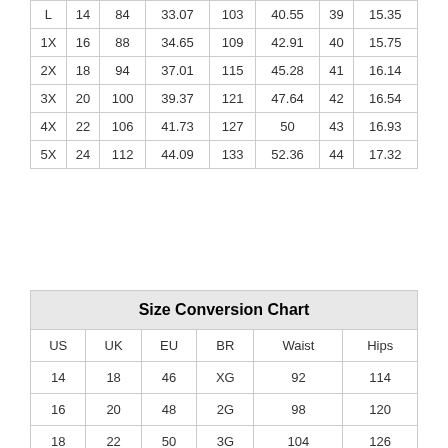| L | 14 | 84 | 33.07 | 103 | 40.55 | 39 | 15.35 |
| 1X | 16 | 88 | 34.65 | 109 | 42.91 | 40 | 15.75 |
| 2X | 18 | 94 | 37.01 | 115 | 45.28 | 41 | 16.14 |
| 3X | 20 | 100 | 39.37 | 121 | 47.64 | 42 | 16.54 |
| 4X | 22 | 106 | 41.73 | 127 | 50 | 43 | 16.93 |
| 5X | 24 | 112 | 44.09 | 133 | 52.36 | 44 | 17.32 |
| US | UK | EU | BR | Waist | Hips |
| --- | --- | --- | --- | --- | --- |
| 14 | 18 | 46 | XG | 92 | 114 |
| 16 | 20 | 48 | 2G | 98 | 120 |
| 18 | 22 | 50 | 3G | 104 | 126 |